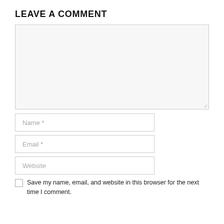LEAVE A COMMENT
[Figure (other): Large empty textarea input box for comment text]
[Figure (other): Name text input field with placeholder 'Name *']
[Figure (other): Email text input field with placeholder 'Email *']
[Figure (other): Website text input field with placeholder 'Website']
Save my name, email, and website in this browser for the next time I comment.